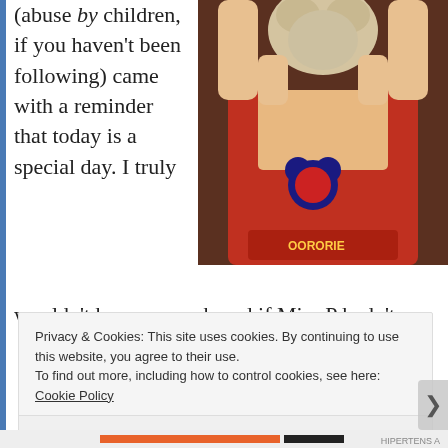(abuse by children, if you haven't been following) came with a reminder that today is a special day. I truly wouldn't have remembered if Miss P hadn't
[Figure (photo): A young child in a red Mickey Mouse shirt holding up a stuffed animal toy above their head]
Privacy & Cookies: This site uses cookies. By continuing to use this website, you agree to their use.
To find out more, including how to control cookies, see here: Cookie Policy
Close and accept